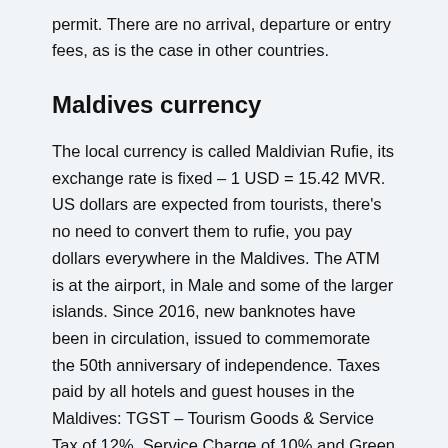permit. There are no arrival, departure or entry fees, as is the case in other countries.
Maldives currency
The local currency is called Maldivian Rufie, its exchange rate is fixed – 1 USD = 15.42 MVR. US dollars are expected from tourists, there's no need to convert them to rufie, you pay dollars everywhere in the Maldives. The ATM is at the airport, in Male and some of the larger islands. Since 2016, new banknotes have been in circulation, issued to commemorate the 50th anniversary of independence. Taxes paid by all hotels and guest houses in the Maldives: TGST – Tourism Goods & Service Tax of 12%, Service Charge of 10% and Green Tax of USD 3 per person per night. Our prices are quoted with all fees and taxes. Beware, other